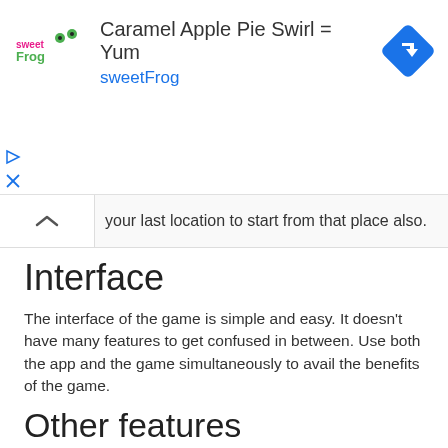[Figure (other): Advertisement banner for sweetFrog frozen yogurt: 'Caramel Apple Pie Swirl = Yum' with sweetFrog logo and navigation/map icon]
your last location to start from that place also.
Interface
The interface of the game is simple and easy. It doesn't have many features to get confused in between. Use both the app and the game simultaneously to avail the benefits of the game.
Other features
Teleport
Joystick
Favorites